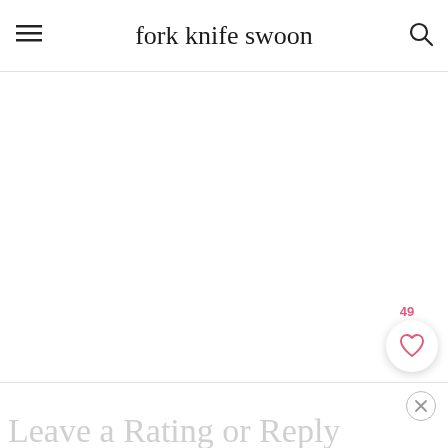fork knife swoon
[Figure (screenshot): White blank content area with floating UI buttons: a heart/like button showing count 49, and a pink search button]
Leave a Rating or Reply